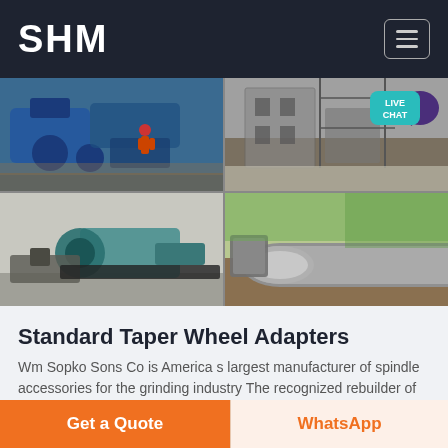SHM
[Figure (photo): Four-panel image grid showing industrial mining/grinding equipment: top-left shows blue machinery with worker in red hard hat; top-right shows construction/industrial site; bottom-left shows teal conveyor/washing equipment; bottom-right shows large industrial pipes and tanks outdoors.]
Standard Taper Wheel Adapters
Wm Sopko Sons Co is America s largest manufacturer of spindle accessories for the grinding industry The recognized rebuilder of